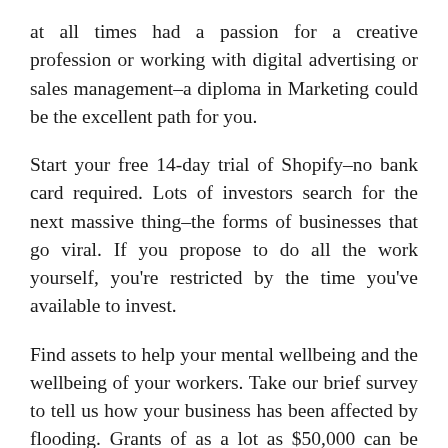at all times had a passion for a creative profession or working with digital advertising or sales management–a diploma in Marketing could be the excellent path for you.
Start your free 14-day trial of Shopify–no bank card required. Lots of investors search for the next massive thing–the forms of businesses that go viral. If you propose to do all the work yourself, you're restricted by the time you've available to invest.
Find assets to help your mental wellbeing and the wellbeing of your workers. Take our brief survey to tell us how your business has been affected by flooding. Grants of as a lot as $50,000 can be found for affected small companies and primary producers. NatWest are supporting the model new EV8 Switch app, supplying you with tailored advice on the way to get started. Our common peer-to-peer coaching periods could help you